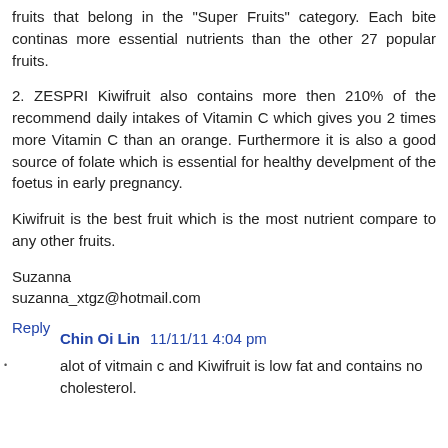fruits that belong in the "Super Fruits" category. Each bite continas more essential nutrients than the other 27 popular fruits.
2. ZESPRI Kiwifruit also contains more then 210% of the recommend daily intakes of Vitamin C which gives you 2 times more Vitamin C than an orange. Furthermore it is also a good source of folate which is essential for healthy develpment of the foetus in early pregnancy.
Kiwifruit is the best fruit which is the most nutrient compare to any other fruits.
Suzanna
suzanna_xtgz@hotmail.com
Reply
Chin Oi Lin  11/11/11 4:04 pm
alot of vitmain c and Kiwifruit is low fat and contains no cholesterol.